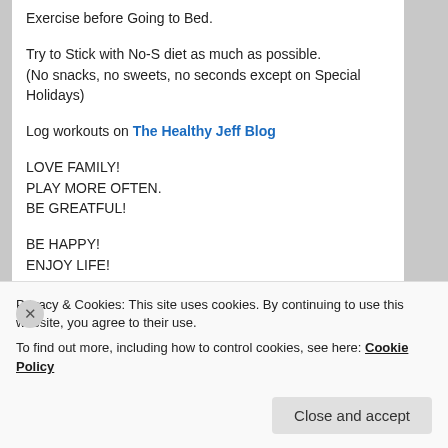Exercise before Going to Bed.
Try to Stick with No-S diet as much as possible.
(No snacks, no sweets, no seconds except on Special Holidays)
Log workouts on The Healthy Jeff Blog
LOVE FAMILY!
PLAY MORE OFTEN.
BE GREATFUL!
BE HAPPY!
ENJOY LIFE!
[Figure (logo): Circular logo with red and black arcs, partially visible at bottom of page]
Privacy & Cookies: This site uses cookies. By continuing to use this website, you agree to their use.
To find out more, including how to control cookies, see here: Cookie Policy